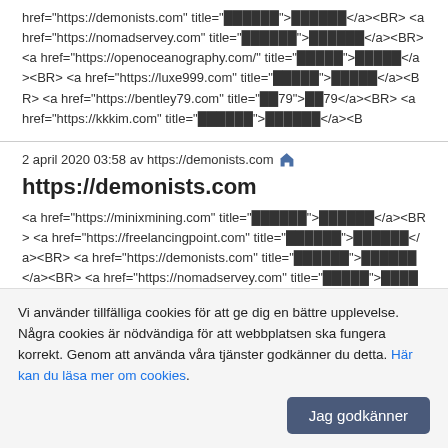href="https://demonists.com" title="██████">██████</a><BR> <a href="https://nomadservey.com" title="██████">██████</a><BR> <a href="https://openoceanography.com/" title="█████">█████</a><BR> <a href="https://luxe999.com" title="█████">█████</a><BR> <a href="https://bentley79.com" title="██79">██79</a><BR> <a href="https://kkkim.com" title="██████">██████</a><B
2 april 2020 03:58 av https://demonists.com 🏠
https://demonists.com
<a href="https://minixmining.com" title="██████">██████</a><BR> <a href="https://freelancingpoint.com" title="██████">██████</a><BR> <a href="https://demonists.com" title="██████">██████</a><BR> <a href="https://nomadservey.com" title="█████">█████</a><BR> <a href="https://openoceanography.com/" title="█████">█████</a><BR> <a
Vi använder tillfälliga cookies för att ge dig en bättre upplevelse. Några cookies är nödvändiga för att webbplatsen ska fungera korrekt. Genom att använda våra tjänster godkänner du detta. Här kan du läsa mer om cookies.
Jag godkänner